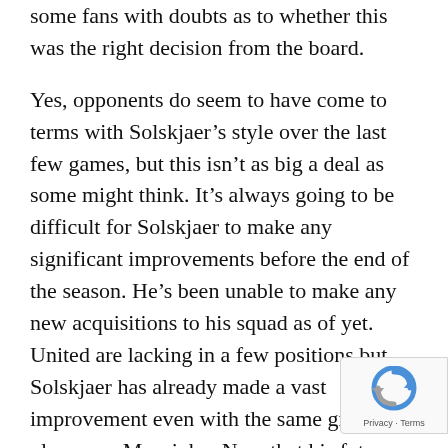some fans with doubts as to whether this was the right decision from the board.
Yes, opponents do seem to have come to terms with Solskjaer's style over the last few games, but this isn't as big a deal as some might think. It's always going to be difficult for Solskjaer to make any significant improvements before the end of the season. He's been unable to make any new acquisitions to his squad as of yet. United are lacking in a few positions but Solskjaer has already made a vast improvement even with the same group of players as Mourinho. Now that his future has been decided, it's likely he will be well backed by the club's owners in the summer. This could provide Solskjaer with the chance to snap up the players he needs to really strengthen the side. The addition of a solid centre half would be a huge step forward in itself.
[Figure (logo): reCAPTCHA badge with Google logo and Privacy - Terms text]